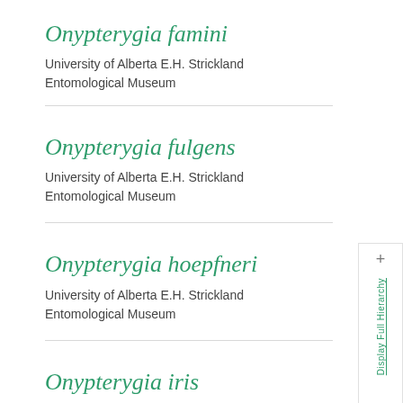Onypterygia famini
University of Alberta E.H. Strickland Entomological Museum
Onypterygia fulgens
University of Alberta E.H. Strickland Entomological Museum
Onypterygia hoepfneri
University of Alberta E.H. Strickland Entomological Museum
Onypterygia iris